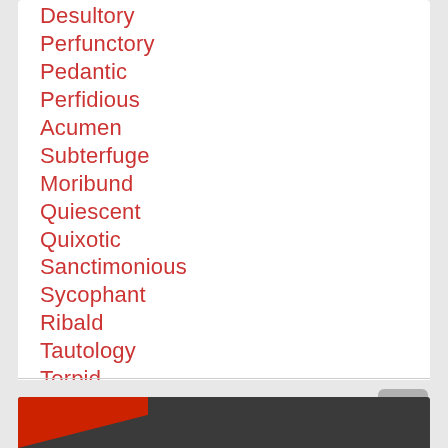Desultory
Perfunctory
Pedantic
Perfidious
Acumen
Subterfuge
Moribund
Quiescent
Quixotic
Sanctimonious
Sycophant
Ribald
Tautology
Torpid
Truculent
Sybarite
Perseverate
Glib
[Figure (screenshot): Bottom navigation bar with red and dark gray colors and an up arrow share button]